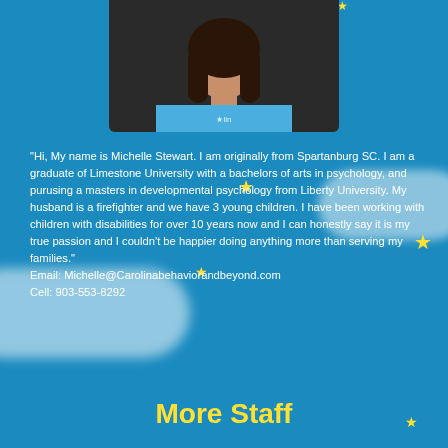[Figure (photo): Photo of Michelle Stewart, a woman with long dark hair wearing a light blue Carolina Behavior and Beyond t-shirt, shown from shoulders up against a dark background.]
"Hi, My name is Michelle Stewart. I am originally from Spartanburg SC. I am a graduate of Limestone University with a bachelors of arts in psychology, and purusing a masters in developmental psychology from Liberty University. My husband is a firefighter and we have 3 young children. I have been working with children with disabilities for over 10 years now and I can honestly say it is my true passion and I couldn't be happier doing anything more than serving my families."
Email: Michelle@Carolinabehaviorandbeyond.com
Cell: 903-553-8292
More Staff